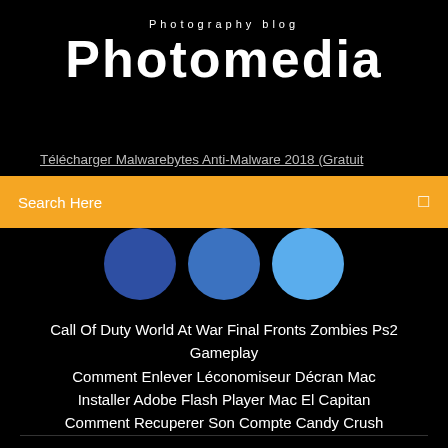Photography blog
Photomedia
Télécharger Malwarebytes Anti-Malware 2018 (Gratuit
Search Here
[Figure (illustration): Three partially visible circles in shades of blue arranged horizontally]
Call Of Duty World At War Final Fronts Zombies Ps2 Gameplay
Comment Enlever Léconomiseur Décran Mac
Installer Adobe Flash Player Mac El Capitan
Comment Recuperer Son Compte Candy Crush